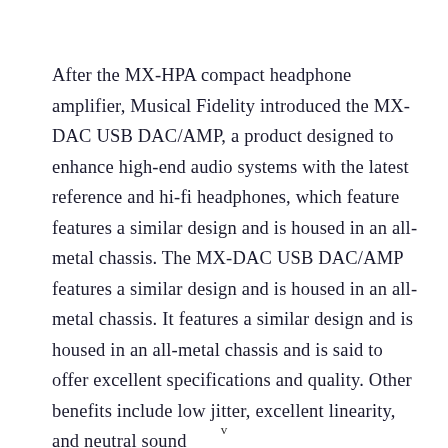After the MX-HPA compact headphone amplifier, Musical Fidelity introduced the MX-DAC USB DAC/AMP, a product designed to enhance high-end audio systems with the latest reference and hi-fi headphones, which feature features a similar design and is housed in an all-metal chassis. The MX-DAC USB DAC/AMP features a similar design and is housed in an all-metal chassis. It features a similar design and is housed in an all-metal chassis and is said to offer excellent specifications and quality. Other benefits include low jitter, excellent linearity, and neutral sound
v